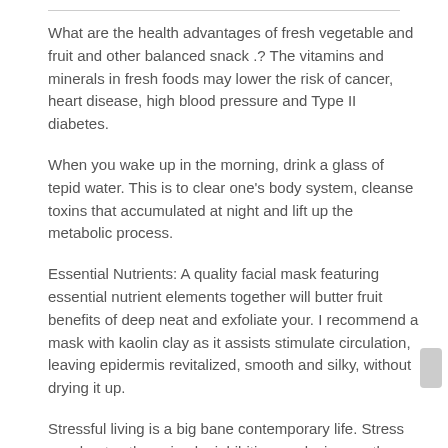What are the health advantages of fresh vegetable and fruit and other balanced snack .? The vitamins and minerals in fresh foods may lower the risk of cancer, heart disease, high blood pressure and Type II diabetes.
When you wake up in the morning, drink a glass of tepid water. This is to clear one's body system, cleanse toxins that accumulated at night and lift up the metabolic process.
Essential Nutrients: A quality facial mask featuring essential nutrient elements together will butter fruit benefits of deep neat and exfoliate your. I recommend a mask with kaolin clay as it assists stimulate circulation, leaving epidermis revitalized, smooth and silky, without drying it up.
Stressful living is a big bane contemporary life. Stress accelerates the aging by inhibiting producing youth hormones such as HGH. Relaxation techniques regarding example yoga...